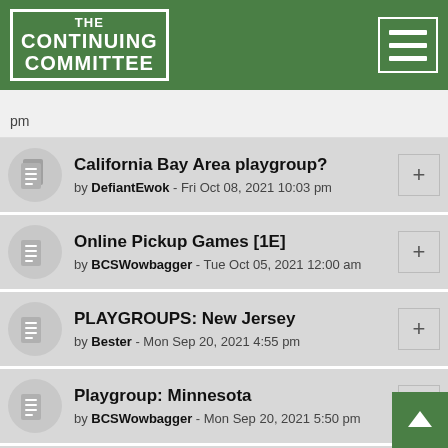The Continuing Committee
pm
California Bay Area playgroup? by DefiantEwok - Fri Oct 08, 2021 10:03 pm
Online Pickup Games [1E] by BCSWowbagger - Tue Oct 05, 2021 12:00 am
PLAYGROUPS: New Jersey by Bester - Mon Sep 20, 2021 4:55 pm
Playgroup: Minnesota by BCSWowbagger - Mon Sep 20, 2021 5:50 pm
Playgroups: Florida by OKCoyote - Wed Sep 08, 2021 11:02 am
Playgroup: London and South-ish UK by Fritzinger - Sun Sep 05, 2021 5:47 am